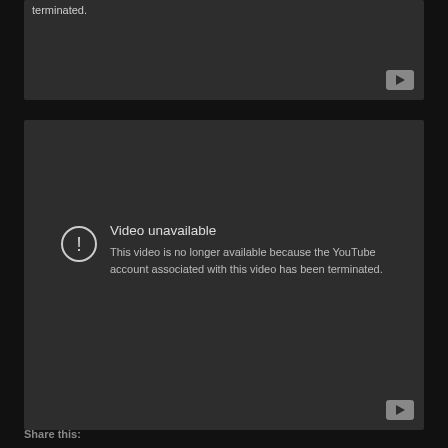[Figure (screenshot): YouTube video player showing a terminated account error — top cropped video box with partial text 'terminated.' and a YouTube play button in the corner]
[Figure (screenshot): YouTube video player showing 'Video unavailable' error with text: 'This video is no longer available because the YouTube account associated with this video has been terminated.' with warning icon and YouTube play button]
Share this: